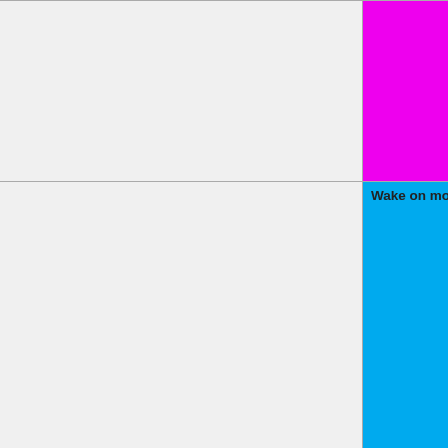| Feature | Description | Status |
| --- | --- | --- |
|  |  | Untested=yellow | N/A=lightgray yellow }}" | N/A |
| Wake on modem ring |  | OK=lime | TODO=red | No=red | WIP=orange Untested=yel | N/A=lightgra yellow }}" | Untested |
| Wake on LAN |  | OK=lime | TODO=red | No=red | WIP=orange Untested=yel | N/A=lightgra yellow }}" | Untested |
| Wake on keyboard |  | OK=lime | TODO=red | No=red | WIP=orange |